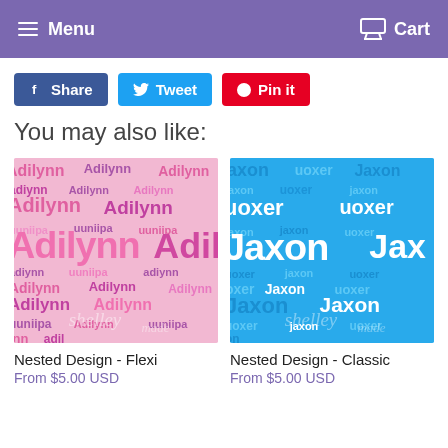Menu  Cart
Share
Tweet
Pin it
You may also like:
[Figure (illustration): Pink word cloud with the name 'Adilynn' repeated in various sizes and shades of pink and purple, with a Shelleymade watermark]
Nested Design - Flexi
From $5.00 USD
[Figure (illustration): Blue word cloud with the name 'Jaxon' and 'uoxer' repeated in various sizes and shades of blue on a bright blue background, with a Shelleymade watermark]
Nested Design - Classic
From $5.00 USD